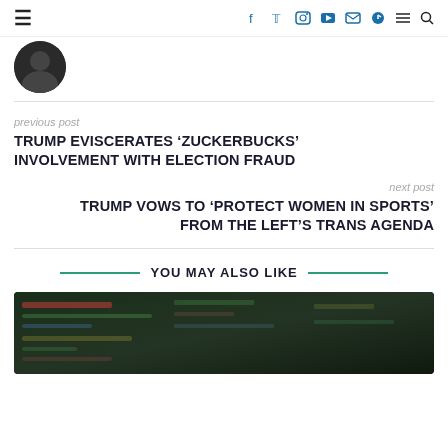≡  f  Twitter  Instagram  YouTube  Mail  Telegram  ≡  🔍
[Figure (photo): Partial circular avatar photo, dark background]
previous post
TRUMP EVISCERATES 'ZUCKERBUCKS' INVOLVEMENT WITH ELECTION FRAUD
next post
TRUMP VOWS TO 'PROTECT WOMEN IN SPORTS' FROM THE LEFT'S TRANS AGENDA
YOU MAY ALSO LIKE
[Figure (screenshot): Dark background image with blurred text/code on screen, appears to be a computer monitor or data screen]